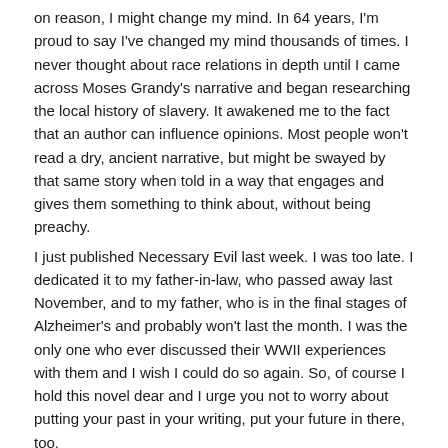on reason, I might change my mind. In 64 years, I'm proud to say I've changed my mind thousands of times. I never thought about race relations in depth until I came across Moses Grandy's narrative and began researching the local history of slavery. It awakened me to the fact that an author can influence opinions. Most people won't read a dry, ancient narrative, but might be swayed by that same story when told in a way that engages and gives them something to think about, without being preachy.
I just published Necessary Evil last week. I was too late. I dedicated it to my father-in-law, who passed away last November, and to my father, who is in the final stages of Alzheimer's and probably won't last the month. I was the only one who ever discussed their WWII experiences with them and I wish I could do so again. So, of course I hold this novel dear and I urge you not to worry about putting your past in your writing, put your future in there, too.
Okay, I'm getting off the soapbox. Take care,
JohnB
Anonymous